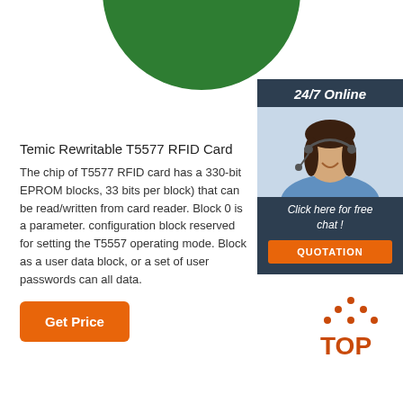[Figure (illustration): Green circle at top center of page, partially cut off]
Temic Rewritable T5577 RFID Card
The chip of T5577 RFID card has a 330-bit EPROM blocks, 33 bits per block) that can be read/written from card reader. Block 0 is a parameter. configuration block reserved for setting the T5557 operating mode. Block as a user data block, or a set of user passwords can all data.
[Figure (photo): 24/7 Online sidebar with photo of smiling woman with headset, Click here for free chat text, and QUOTATION orange button]
[Figure (logo): TOP logo with orange dots forming triangle above letters TOP in orange-red color]
Get Price